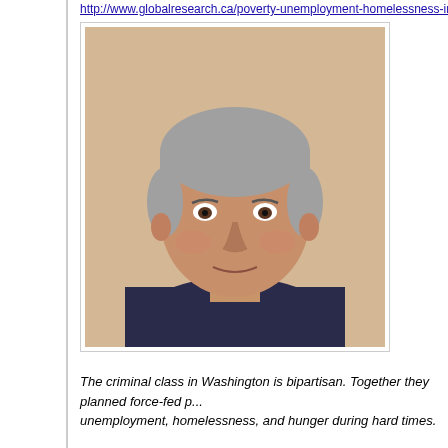http://www.globalresearch.ca/poverty-unemployment-homelessness-in-america-rage-agains...
[Figure (photo): Portrait photo of an older man with gray hair wearing a dark shirt]
The criminal class in Washington is bipartisan. Together they planned force-fed poverty, unemployment, homelessness, and hunger during hard times.
They did it when vital help is needed. Officially it's called "austerity." Obama calls it "shared sacrifice" without explaining how he plans to let rich ones "share." Rape, pillage, loot, steal, or plunder best describes it.
The name of the game is shifting public wealth to bankers, other corporate favorites and we...
It's gone on for decades. Post-9/11, Bush and Obama took it to a higher level. They represe... throwing everyone else under the bus.
Robbing poor Peter to pay rich Paul is policy. Destructive neoliberal harshness defines it. oppressed by problems they didn't cause. The usual IMF prescription is mandated.
Hammer people hard when they're down. Preserve capital at all costs. Prioritize banker benefits. Curb social spending.